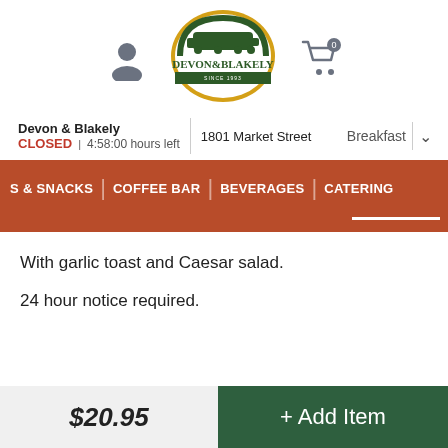[Figure (logo): Devon & Blakely restaurant logo with train illustration, green and gold circular badge]
Devon & Blakely | 1801 Market Street
CLOSED | 4:58:00 hours left
Breakfast ˅
S & SNACKS | COFFEE BAR | BEVERAGES | CATERING
With garlic toast and Caesar salad.

24 hour notice required.
$20.95
+ Add Item